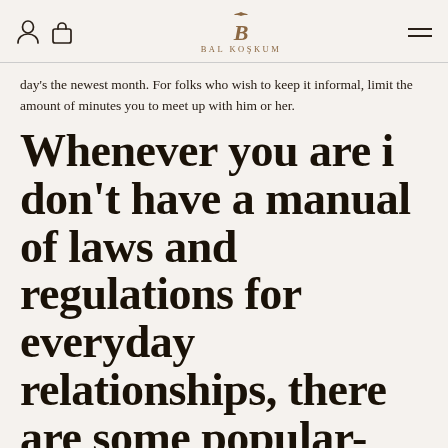BAL KOŞKUM
day's the newest month. For folks who wish to keep it informal, limit the amount of minutes you to meet up with him or her.
Whenever you are i don't have a manual of laws and regulations for everyday relationships, there are some popular-experience borders that you ought to be